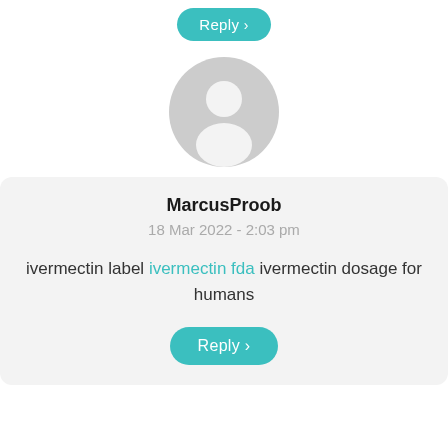[Figure (illustration): Teal/green Reply button at top of page]
[Figure (illustration): Gray default user avatar circle with person silhouette]
MarcusProob
18 Mar 2022 - 2:03 pm
ivermectin label ivermectin fda ivermectin dosage for humans
[Figure (illustration): Teal/green Reply button at bottom of comment box]